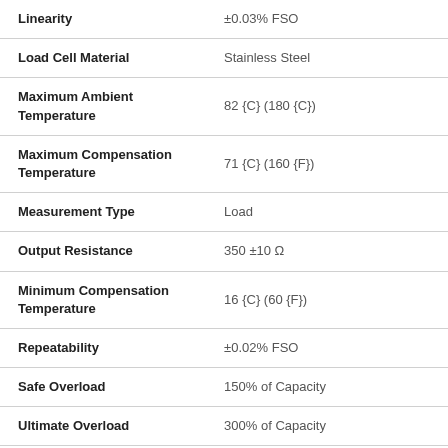| Property | Value |
| --- | --- |
| Linearity | ±0.03% FSO |
| Load Cell Material | Stainless Steel |
| Maximum Ambient Temperature | 82 {C} (180 {C}) |
| Maximum Compensation Temperature | 71 {C} (160 {F}) |
| Measurement Type | Load |
| Output Resistance | 350 ±10 Ω |
| Minimum Compensation Temperature | 16 {C} (60 {F}) |
| Repeatability | ±0.02% FSO |
| Safe Overload | 150% of Capacity |
| Ultimate Overload | 300% of Capacity |
| Temperature Effects | Zero: ±0.001% FSO/°F (0.0018%/ |